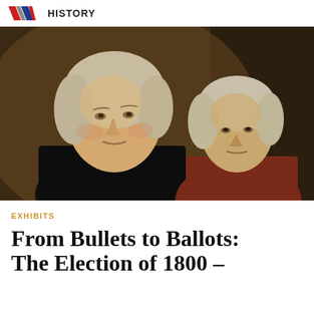HISTORY
[Figure (photo): Portrait painting of Thomas Jefferson (foreground, left) and John Adams (background, right), both in 18th century attire against a dark background.]
EXHIBITS
From Bullets to Ballots: The Election of 1800 –